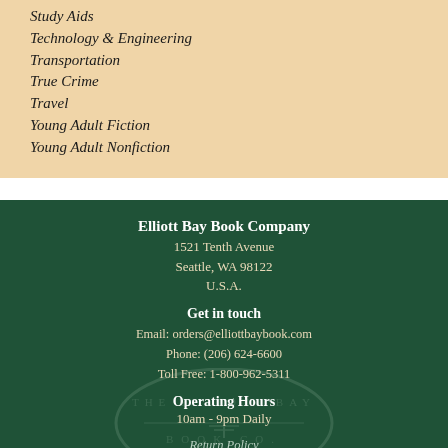Study Aids
Technology & Engineering
Transportation
True Crime
Travel
Young Adult Fiction
Young Adult Nonfiction
Elliott Bay Book Company
1521 Tenth Avenue
Seattle, WA 98122
U.S.A.
Get in touch
Email: orders@elliottbaybook.com
Phone: (206) 624-6600
Toll Free: 1-800-962-5311
Operating Hours
10am - 9pm Daily
Return Policy
Privacy & Security Policy